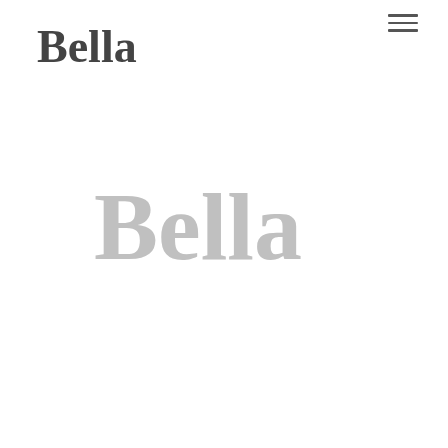[Figure (logo): Bella brand logo in dark gray cursive script, positioned top-left]
[Figure (other): Hamburger menu icon (three horizontal lines) in top-right corner]
[Figure (logo): Large Bella brand logo in light gray cursive script, centered on page]